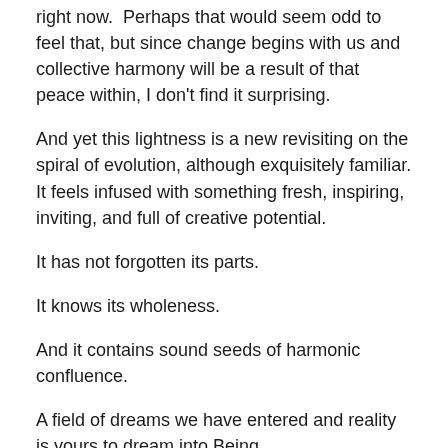right now.  Perhaps that would seem odd to feel that, but since change begins with us and collective harmony will be a result of that peace within, I don't find it surprising.
And yet this lightness is a new revisiting on the spiral of evolution, although exquisitely familiar. It feels infused with something fresh, inspiring, inviting, and full of creative potential.
It has not forgotten its parts.
It knows its wholeness.
And it contains sound seeds of harmonic confluence.
A field of dreams we have entered and reality is yours to dream into Being.
…